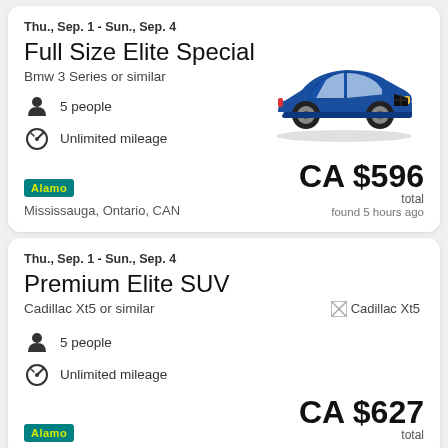Thu., Sep. 1 - Sun., Sep. 4
Full Size Elite Special
Bmw 3 Series or similar
5 people
Unlimited mileage
[Figure (photo): Blue BMW 3 Series sedan]
Alamo
Mississauga, Ontario, CAN
CA $596 total found 5 hours ago
Thu., Sep. 1 - Sun., Sep. 4
Premium Elite SUV
Cadillac Xt5 or similar
[Figure (photo): Cadillac Xt5 image (broken/loading)]
5 people
Unlimited mileage
Alamo
CA $627 total